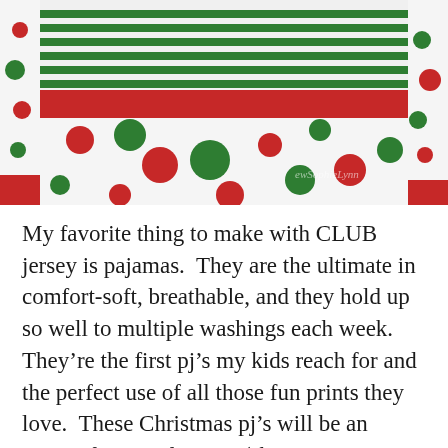[Figure (photo): A child wearing Christmas pajamas with green stripe top and white polka dot bottoms with red and green dots, red cuffs and waistband. Watermark reads 'ewSophieLynn'.]
My favorite thing to make with CLUB jersey is pajamas.  They are the ultimate in comfort-soft, breathable, and they hold up so well to multiple washings each week.  They're the first pj's my kids reach for and the perfect use of all those fun prints they love.  These Christmas pj's will be an instant favorite for sure (she may or may not be going on wearing these two